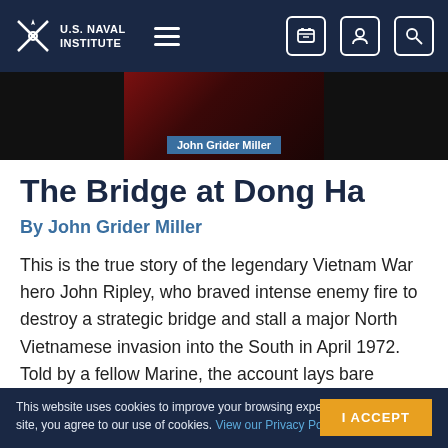U.S. Naval Institute
[Figure (photo): Book cover image with author name 'John Grider Miller' displayed on a dark red background]
The Bridge at Dong Ha
By John Grider Miller
This is the true story of the legendary Vietnam War hero John Ripley, who braved intense enemy fire to destroy a strategic bridge and stall a major North Vietnamese invasion into the South in April 1972. Told by a fellow Marine, the account lays bare Ripley's innermost thoughts as he rigged 500 pounds of explosives by hand-walking the beams
This website uses cookies to improve your browsing experience. By using this site, you agree to our use of cookies. View our Privacy Policy.